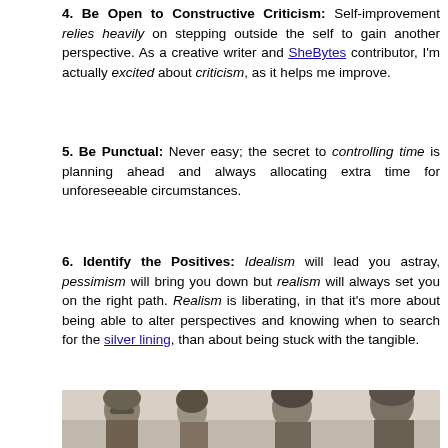4. Be Open to Constructive Criticism: Self-improvement relies heavily on stepping outside the self to gain another perspective. As a creative writer and SheBytes contributor, I'm actually excited about criticism, as it helps me improve.
5. Be Punctual: Never easy; the secret to controlling time is planning ahead and always allocating extra time for unforeseeable circumstances.
6. Identify the Positives: Idealism will lead you astray, pessimism will bring you down but realism will always set you on the right path. Realism is liberating, in that it's more about being able to alter perspectives and knowing when to search for the silver lining, than about being stuck with the tangible.
[Figure (photo): Black and white photo of four people (appears to be a band), cropped at bottom of page]